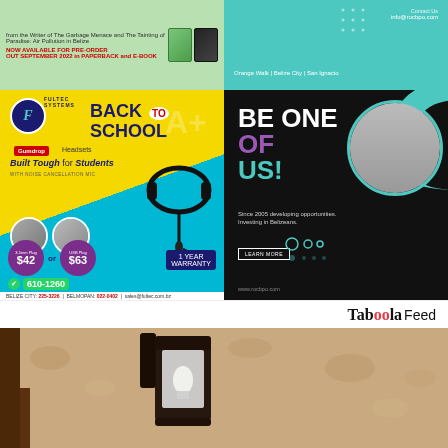[Figure (illustration): Book advertisement for 'The Garbage Menace and The Tainting of Paradise: Air Pollution in Belize'. Green background with two book images. Text: 'NOW AVAILABLE FOR PRE-ORDER OUT SEPTEMBER 2022 in PAPERBACK and E-BOOK']
[Figure (illustration): ROC BPO company top banner ad. Teal background. Locations: Orange Walk | Belize City | San Ignacio. Contact: info@rocbpo.com]
[Figure (illustration): Fultec Systems Back to School ad. Yellow/cyan background. Gumdrop Headsets - Built Tough for Students with noise cancellation mic. Prices: $42 or $63. WhatsApp 610-1260. 1 Year Warranty. Belize City: 225-3226 | Belmopan: 022-0402 | sales@fultec.com.bz]
[Figure (illustration): ROC BPO recruitment ad. Dark background. 'BE ONE OF US!' Since 2005 developing opportunities, investing in Belizeans. Learn More button. www.rocbpo.com. Woman wearing headset on right side.]
Taboola Feed
[Figure (photo): Close-up photo of an outdoor wall lantern mounted on a textured stucco wall. The lantern has a dark metal frame with a glass panel and visible light bulb inside.]